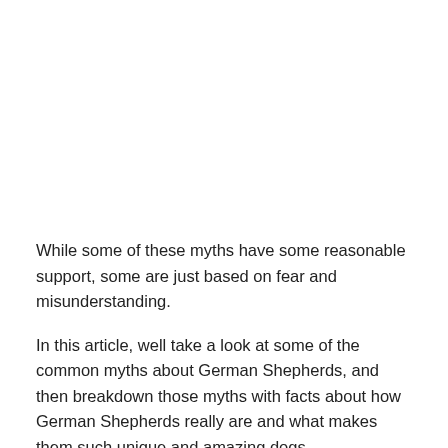While some of these myths have some reasonable support, some are just based on fear and misunderstanding.
In this article, well take a look at some of the common myths about German Shepherds, and then breakdown those myths with facts about how German Shepherds really are and what makes them such unique and amazing dogs.